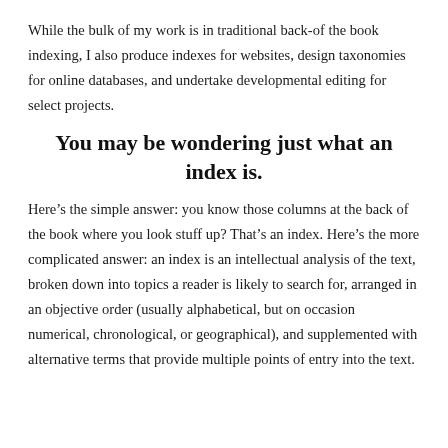While the bulk of my work is in traditional back-of the book indexing, I also produce indexes for websites, design taxonomies for online databases, and undertake developmental editing for select projects.
You may be wondering just what an index is.
Here's the simple answer: you know those columns at the back of the book where you look stuff up? That's an index. Here's the more complicated answer: an index is an intellectual analysis of the text, broken down into topics a reader is likely to search for, arranged in an objective order (usually alphabetical, but on occasion numerical, chronological, or geographical), and supplemented with alternative terms that provide multiple points of entry into the text.